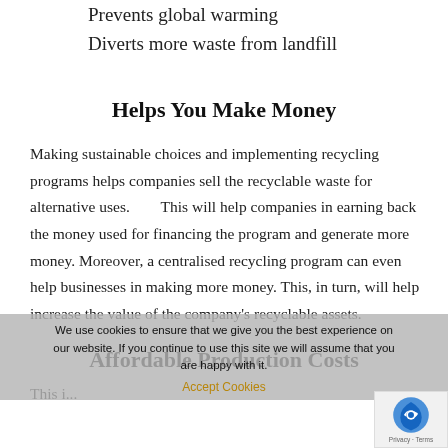Prevents global warming
Diverts more waste from landfill
Helps You Make Money
Making sustainable choices and implementing recycling programs helps companies sell the recyclable waste for alternative uses.        This will help companies in earning back the money used for financing the program and generate more money. Moreover, a centralised recycling program can even help businesses in making more money. This, in turn, will help increase the value of the company's recyclable assets.
Affordable Production Costs
This is...